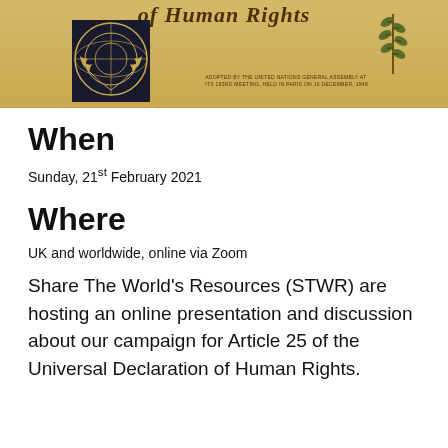[Figure (illustration): Top portion of the Universal Declaration of Human Rights document cover, showing a golden/tan background with the UN emblem (globe with olive branches) on the left, an olive branch illustration on the right, italic title text 'of Human Rights' partially visible at the top, and small text stating the document was adopted by the United Nations General Assembly at its 183rd meeting, held in Paris on 10 December, 1948.]
When
Sunday, 21st February 2021
Where
UK and worldwide, online via Zoom
Share The World's Resources (STWR) are hosting an online presentation and discussion about our campaign for Article 25 of the Universal Declaration of Human Rights.